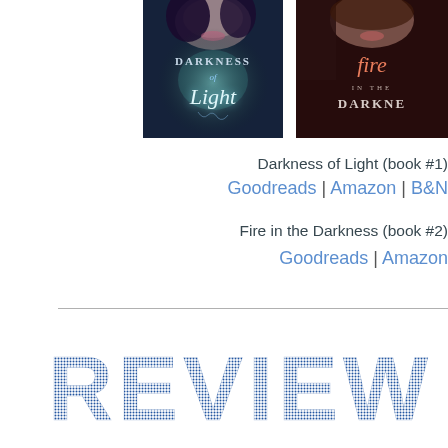[Figure (photo): Book cover of 'Darkness of Light' showing a young woman's face with dark/purple tones, mystical forest background, with stylized title text]
[Figure (photo): Book cover of 'Fire in the Darkness' showing a young woman's face with dark red tones, partially cropped on right edge]
Darkness of Light (book #1)
Goodreads | Amazon | B&N
Fire in the Darkness (book #2)
Goodreads | Amazon
[Figure (illustration): Large decorative 'REVIEW' text in bold blue stamp-style lettering with dotted/textured appearance]